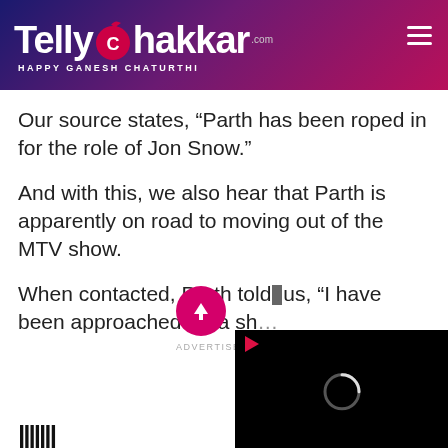TellyChakkar.com — HAPPY GANESH CHATURTHI
Our source states, “Parth has been roped in for the role of Jon Snow.”
And with this, we also hear that Parth is apparently on road to moving out of the MTV show.
When contacted, Parth told us, “I have been approached for a sh…
ADVERTISEMENT
[Figure (screenshot): Video player overlay with play button and loading spinner on black background]
|||||||